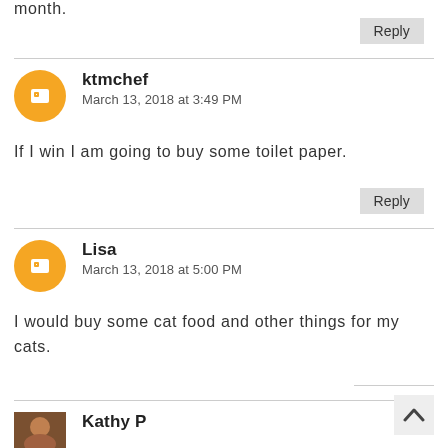month.
Reply
ktmchef
March 13, 2018 at 3:49 PM
If I win I am going to buy some toilet paper.
Reply
Lisa
March 13, 2018 at 5:00 PM
I would buy some cat food and other things for my cats.
Kathy P